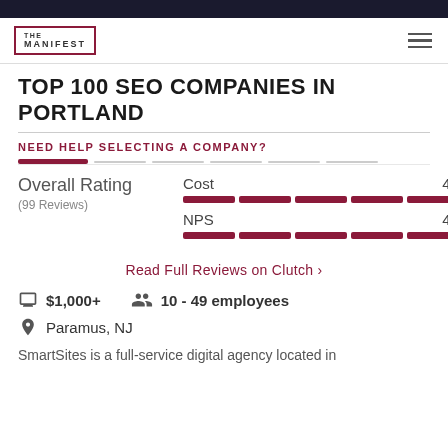THE MANIFEST
TOP 100 SEO COMPANIES IN PORTLAND
NEED HELP SELECTING A COMPANY?
Overall Rating (99 Reviews) | Cost 4.8 | NPS 4.9
Read Full Reviews on Clutch
$1,000+   10 - 49 employees
Paramus, NJ
SmartSites is a full-service digital agency located in